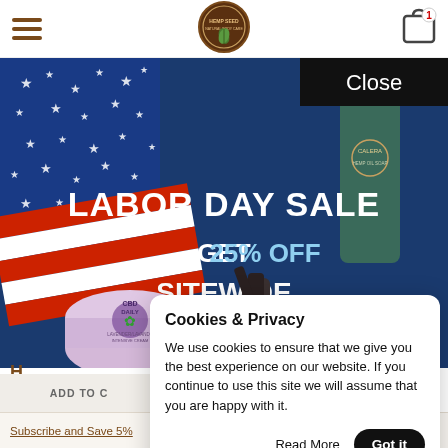Hemp Seed Natural Body Care — navigation header with hamburger menu, logo, and cart icon
[Figure (infographic): Labor Day Sale banner: American flag background with stars and stripes, product bottles on right. Text reads 'LABOR DAY SALE GET 25% OFF SITEWIDE'. Black 'Close' button top right. CBD Daily lavender cream tin and other products visible at bottom. Blue background.]
Cookies & Privacy
We use cookies to ensure that we give you the best experience on our website. If you continue to use this site we will assume that you are happy with it.
Read More
Got it
ADD TO C
Subscribe and Save 5%
Subscribe and Save 5%